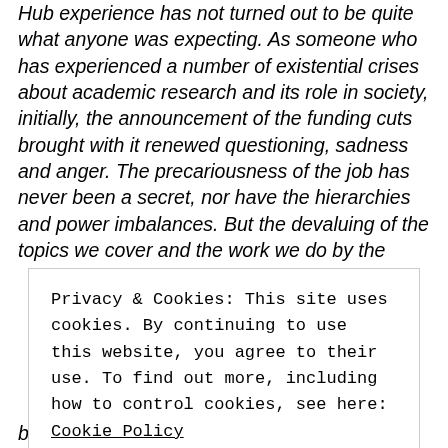Hub experience has not turned out to be quite what anyone was expecting. As someone who has experienced a number of existential crises about academic research and its role in society, initially, the announcement of the funding cuts brought with it renewed questioning, sadness and anger. The precariousness of the job has never been a secret, nor have the hierarchies and power imbalances. But the devaluing of the topics we cover and the work we do by the
Privacy & Cookies: This site uses cookies. By continuing to use this website, you agree to their use. To find out more, including how to control cookies, see here: Cookie Policy
Close and accept
been attention to be meaningful this past day for th